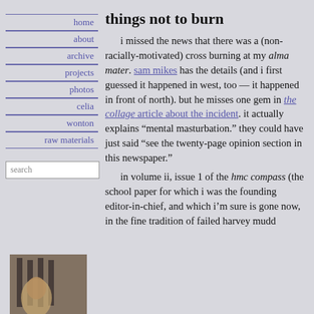home
about
archive
projects
photos
celia
wonton
raw materials
things not to burn
i missed the news that there was a (non-racially-motivated) cross burning at my alma mater. sam mikes has the details (and i first guessed it happened in west, too — it happened in front of north). but he misses one gem in the collage article about the incident. it actually explains “mental masturbation.” they could have just said “see the twenty-page opinion section in this newspaper.”
in volume ii, issue 1 of the hmc compass (the school paper for which i was the founding editor-in-chief, and which i’m sure is gone now, in the fine tradition of failed harvey mudd
[Figure (photo): Small thumbnail photo showing what appears to be a person or animal figure, in sepia/aged tones]